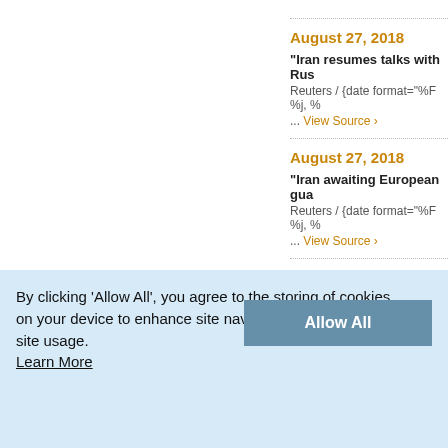August 27, 2018
"Iran resumes talks with Rus...
Reuters / {date format="%F %j, %...
... View Source ›
August 27, 2018
"Iran awaiting European gua...
Reuters / {date format="%F %j, %...
... View Source ›
August 24, 2018
"South Korea sends sanctio...
By clicking 'Allow All', you agree to the storing of cookies on your device to enhance site navigation and analyze site usage. Learn More